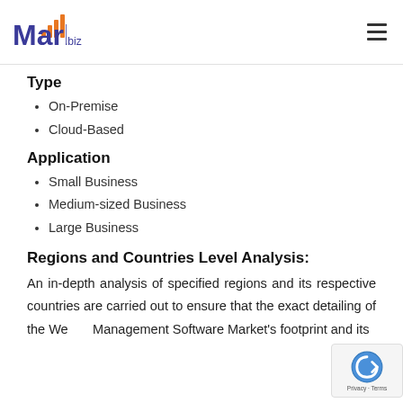Market.biz
Type
On-Premise
Cloud-Based
Application
Small Business
Medium-sized Business
Large Business
Regions and Countries Level Analysis:
An in-depth analysis of specified regions and its respective countries are carried out to ensure that the exact detailing of the Wealth Management Software Market's footprint and its